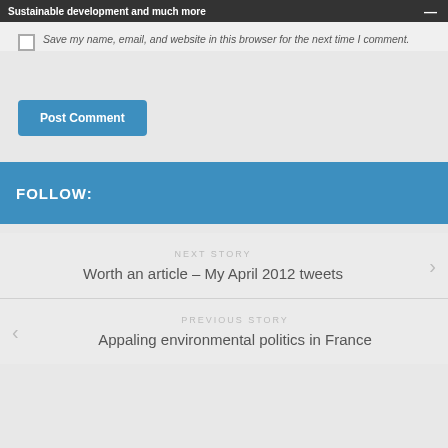Sustainable development and much more
Save my name, email, and website in this browser for the next time I comment.
Post Comment
FOLLOW:
NEXT STORY
Worth an article – My April 2012 tweets
PREVIOUS STORY
Appaling environmental politics in France